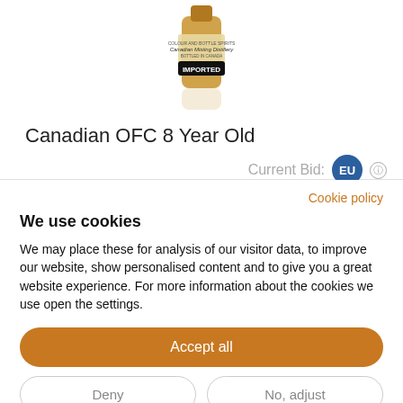[Figure (photo): Bottle of Canadian OFC 8 Year Old whisky with 'IMPORTED' label visible, shown from above with a faint reflection below]
Canadian OFC 8 Year Old
Current Bid: EU
Cookie policy
We use cookies
We may place these for analysis of our visitor data, to improve our website, show personalised content and to give you a great website experience. For more information about the cookies we use open the settings.
Accept all
Deny
No, adjust